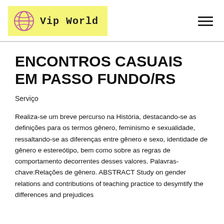Vip World
ENCONTROS CASUAIS EM PASSO FUNDO/RS
Serviço
Realiza-se um breve percurso na História, destacando-se as definições para os termos gênero, feminismo e sexualidade, ressaltando-se as diferenças entre gênero e sexo, identidade de gênero e estereótipo, bem como sobre as regras de comportamento decorrentes desses valores. Palavras-chave:Relações de gênero. ABSTRACT Study on gender relations and contributions of teaching practice to desymtify the differences and prejudices